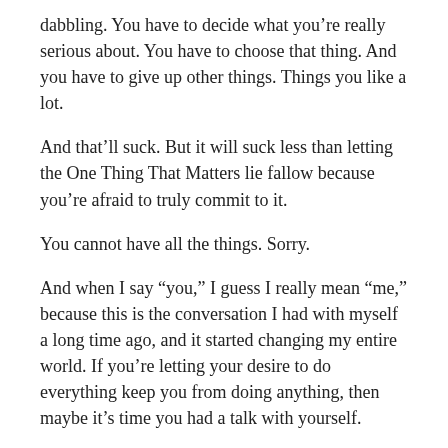dabbling. You have to decide what you’re really serious about. You have to choose that thing. And you have to give up other things. Things you like a lot.
And that’ll suck. But it will suck less than letting the One Thing That Matters lie fallow because you’re afraid to truly commit to it.
You cannot have all the things. Sorry.
And when I say “you,” I guess I really mean “me,” because this is the conversation I had with myself a long time ago, and it started changing my entire world. If you’re letting your desire to do everything keep you from doing anything, then maybe it’s time you had a talk with yourself.